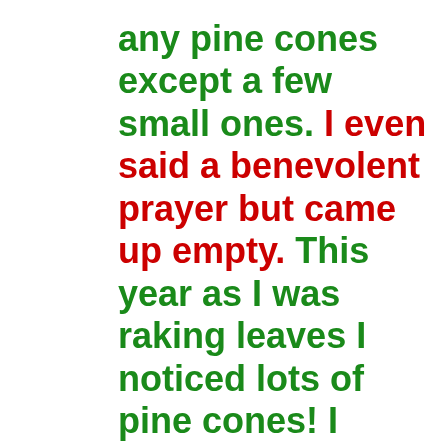any pine cones except a few small ones. I even said a benevolent prayer but came up empty. This year as I was raking leaves I noticed lots of pine cones! I started picking them up and ended up with a wheelbarrow full! This was a late but benevolent